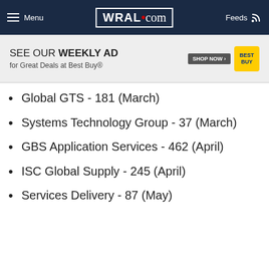Menu | WRAL.com | Feeds
[Figure (other): Best Buy advertisement banner: SEE OUR WEEKLY AD for Great Deals at Best Buy® with SHOP NOW button and Best Buy logo]
Global GTS - 181 (March)
Systems Technology Group - 37 (March)
GBS Application Services - 462 (April)
ISC Global Supply - 245 (April)
Services Delivery - 87 (May)